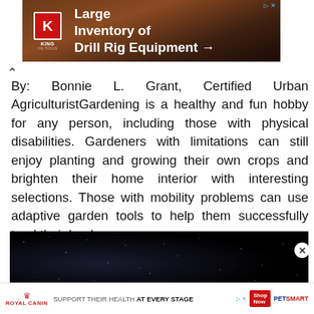[Figure (photo): Advertisement banner for King Oil Tools featuring logo and text 'Large Inventory of Drill Rig Equipment' with arrow, brown/rusty background with drill equipment]
By: Bonnie L. Grant, Certified Urban AgriculturistGardening is a healthy and fun hobby for any person, including those with physical disabilities. Gardeners with limitations can still enjoy planting and growing their own crops and brighten their home interior with interesting selections. Those with mobility problems can use adaptive garden tools to help them successfully tend their landscape.
[Figure (photo): Dark/black image strip appearing to show a night sky or dark background with small white specks resembling stars]
[Figure (photo): Bottom advertisement banner for Royal Canin pet food showing 'SUPPORT THEIR HEALTH AT EVERY STAGE' with PetSmart branding and product images]